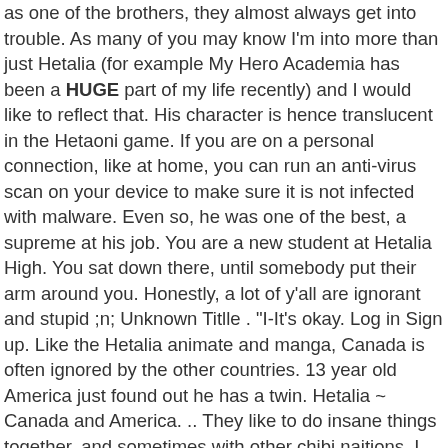as one of the brothers, they almost always get into trouble. As many of you may know I'm into more than just Hetalia (for example My Hero Academia has been a HUGE part of my life recently) and I would like to reflect that. His character is hence translucent in the Hetaoni game. If you are on a personal connection, like at home, you can run an anti-virus scan on your device to make sure it is not infected with malware. Even so, he was one of the best, a supreme at his job. You are a new student at Hetalia High. You sat down there, until somebody put their arm around you. Honestly, a lot of y'all are ignorant and stupid ;n; Unknown Titlle . "I-It's okay. Log in Sign up. Like the Hetalia animate and manga, Canada is often ignored by the other countries. 13 year old America just found out he has a twin. Hetalia ~ Canada and America. .. They like to do insane things together, and sometimes with other chibi naitions. I mean, France is not a pedo or a rapist like everyone thinks he is. Follow. Gimme some more Canada! Follow/Fav